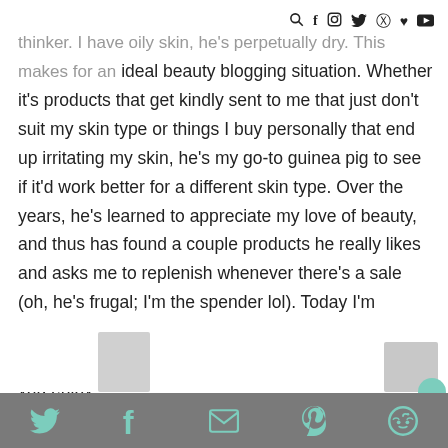social media icons: search, facebook, instagram, twitter, pinterest, heart, youtube
thinker. I have oily skin, he's perpetually dry. This makes for an ideal beauty blogging situation. Whether it's products that get kindly sent to me that just don't suit my skin type or things I buy personally that end up irritating my skin, he's my go-to guinea pig to see if it'd work better for a different skin type. Over the years, he's learned to appreciate my love of beauty, and thus has found a couple products he really likes and asks me to replenish whenever there's a sale (oh, he's frugal; I'm the spender lol). Today I'm sharing five beauty products my husband likes. If you're more on the normal/dry skinned side, I hope you enjoy!
[Figure (photo): Partial product images at bottom of page]
Share bar with Twitter, Facebook, Email, Pinterest, Reddit icons